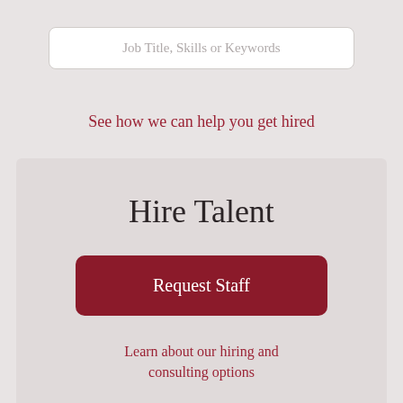Job Title, Skills or Keywords
See how we can help you get hired
Hire Talent
Request Staff
Learn about our hiring and consulting options